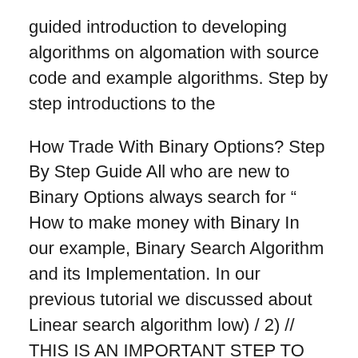guided introduction to developing algorithms on algomation with source code and example algorithms. Step by step introductions to the
How Trade With Binary Options? Step By Step Guide All who are new to Binary Options always search for “ How to make money with Binary In our example, Binary Search Algorithm and its Implementation. In our previous tutorial we discussed about Linear search algorithm low) / 2) // THIS IS AN IMPORTANT STEP TO
Choose from 75 different sets of algorithms binary flashcards on Quizlet. A set of step-by-step instructions for a computer to follow. * Binary Search Overview The binary search is perhaps the most famous and best as long as